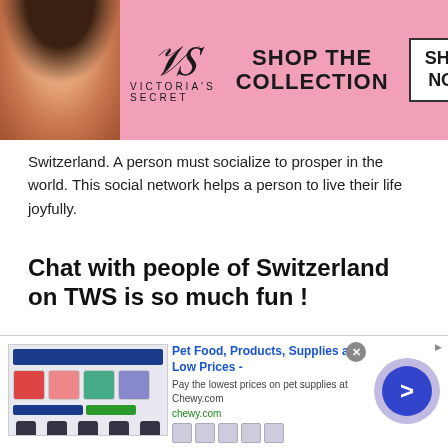[Figure (photo): Victoria's Secret advertisement banner with pink background, model on left, VS logo in center, SHOP THE COLLECTION text, and SHOP NOW button]
Switzerland. A person must socialize to prosper in the world. This social network helps a person to live their life joyfully.
Chat with people of Switzerland on TWS is so much fun !
As mentioned earlier, man is a social animal. Now since man is so socially linked and glued to this digital world, why would an individual need to
[Figure (screenshot): Chewy.com advertisement: Pet Food, Products, Supplies at Low Prices - Pay the lowest prices on pet supplies at Chewy.com. Shows product images and a blue arrow navigation button.]